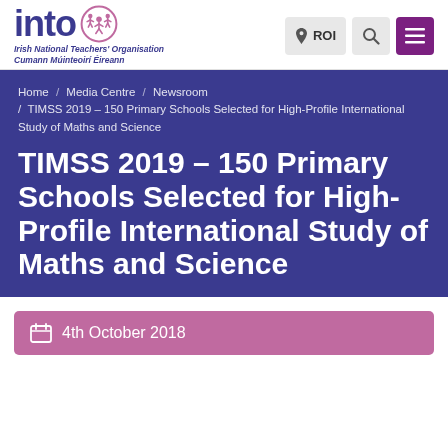[Figure (logo): INTO Irish National Teachers' Organisation logo with star/people icon and text 'Irish National Teachers' Organisation / Cumann Múinteoirí Éireann']
[Figure (infographic): Navigation bar icons: ROI location button, search icon, hamburger menu (purple)]
Home / Media Centre / Newsroom / TIMSS 2019 – 150 Primary Schools Selected for High-Profile International Study of Maths and Science
TIMSS 2019 – 150 Primary Schools Selected for High-Profile International Study of Maths and Science
4th October 2018